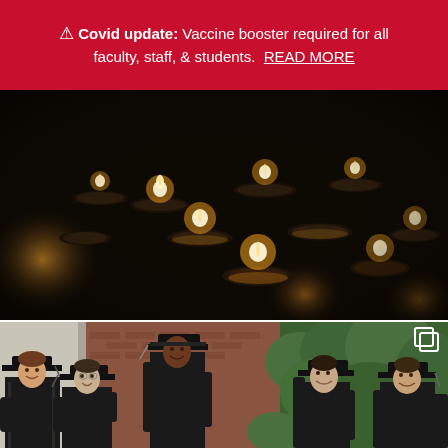⚠ Covid update: Vaccine booster required for all faculty, staff, & students. READ MORE
[Figure (photo): Dark background photo of multiple lit tealight candles glowing with warm amber flames, arranged across the frame in a moody, atmospheric setting.]
[Figure (photo): Group of students in black graduation caps and gowns smiling for a photo outdoors near a brick building with green hedges. A copy/duplicate icon appears in the upper right corner of the photo.]